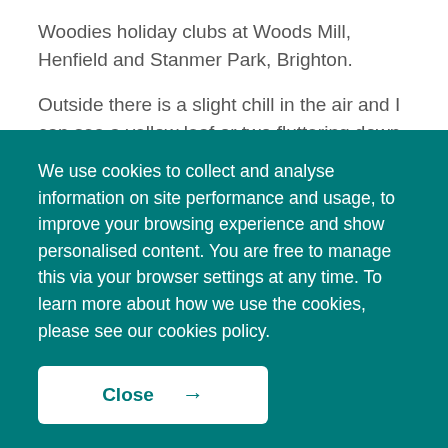Woodies holiday clubs at Woods Mill, Henfield and Stanmer Park, Brighton.
Outside there is a slight chill in the air and I can see a yellow leaf or two fluttering down to the ground in the
We use cookies to collect and analyse information on site performance and usage, to improve your browsing experience and show personalised content. You are free to manage this via your browser settings at any time. To learn more about how we use the cookies, please see our cookies policy.
Close →